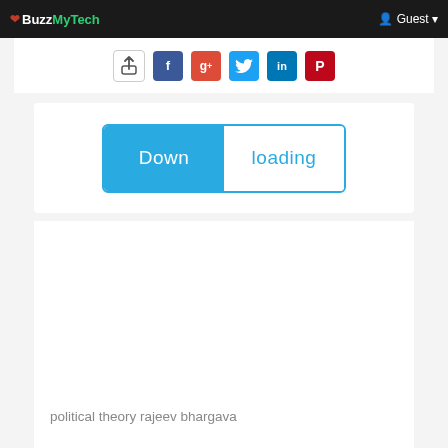❤ Buzz MyTech   Guest
[Figure (screenshot): Social sharing icons row: share/upload icon, Facebook, Google+, Twitter, LinkedIn, Pinterest]
[Figure (screenshot): A download progress button split half blue (left) and half white (right) with the text 'Downloading' in blue on the right side]
political theory rajeev bhargava